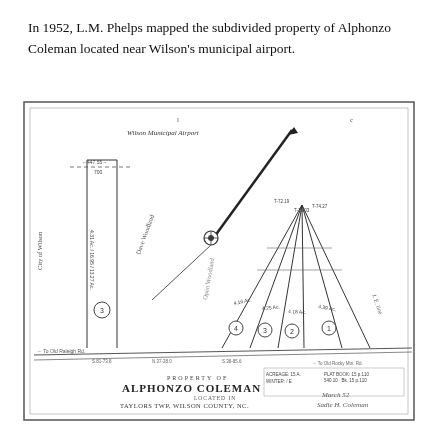In 1952, L.M. Phelps mapped the subdivided property of Alphonzo Coleman located near Wilson's municipal airport.
[Figure (engineering-diagram): 1952 survey/plat map titled 'PROPERTY OF ALPHONZO COLEMAN LOCATED IN TAYLORS TWP, WILSON COUNTY, NC'. Shows subdivided lots with triangular lot lines, Wilson Municipal Airport at top, City of Wilson label on left, numbered lots (1-4 circled), acreage annotations, road at bottom, surveyor signature, and compass/scale elements.]